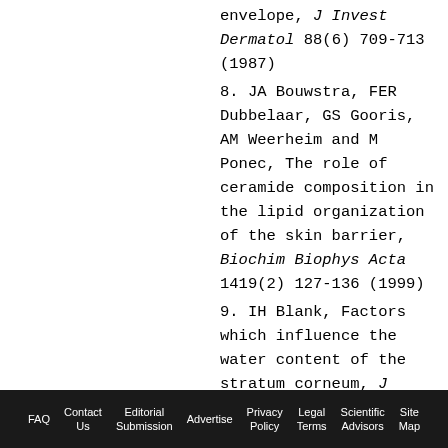envelope, J Invest Dermatol 88(6) 709-713 (1987)
8. JA Bouwstra, FER Dubbelaar, GS Gooris, AM Weerheim and M Ponec, The role of ceramide composition in the lipid organization of the skin barrier, Biochim Biophys Acta 1419(2) 127-136 (1999)
9. IH Blank, Factors which influence the water content of the stratum corneum, J Invest Dermatol
FAQ  Contact Us  Editorial Submission  Advertise  Privacy Policy  Legal Terms  Scientific Advisors  Site Map